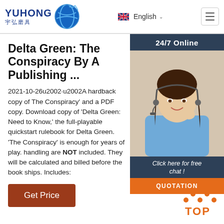YUHONG 宇弘磨具 | English | Menu
Delta Green: The Conspiracy By A Publishing ...
2021-10-26u2002·u2002A hardback copy of The Conspiracy' and a PDF copy. Download copy of 'Delta Green: Need to Know,' the full-playable quickstart rulebook for Delta Green. 'The Conspiracy' is enough for years of play. handling are NOT included. They will be calculated and billed before the book ships. Includes:
[Figure (photo): Customer service agent wearing headset, smiling, with '24/7 Online' banner and 'Click here for free chat!' and 'QUOTATION' button overlay]
Get Price
[Figure (logo): TOP navigation icon with orange dots and text]